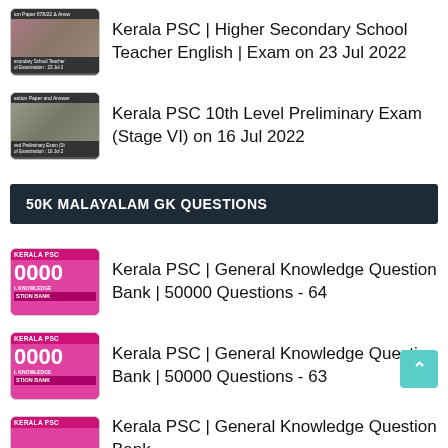Kerala PSC | Higher Secondary School Teacher English | Exam on 23 Jul 2022
Kerala PSC 10th Level Preliminary Exam (Stage VI) on 16 Jul 2022
50K MALAYALAM GK QUESTIONS
Kerala PSC | General Knowledge Question Bank | 50000 Questions - 64
Kerala PSC | General Knowledge Question Bank | 50000 Questions - 63
Kerala PSC | General Knowledge Question Bank